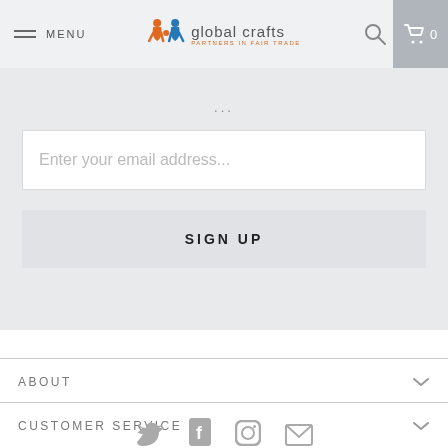MENU | global crafts PARTNERS IN FAIR TRADE | 🔍 | 🛒 0
...
Enter your email address...
SIGN UP
ABOUT
CUSTOMER SERVICE